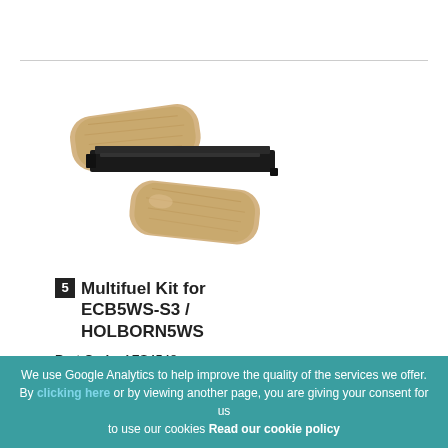[Figure (photo): Product photo showing a multifuel kit: two beige/tan ceramic or vermiculite blocks and a black metal rail/grate piece]
5 Multifuel Kit for ECB5WS-S3 / HOLBORN5WS
Part Code  AFS4548
Qty in Stove  1
(Please call our sales team for details)
We use Google Analytics to help improve the quality of the services we offer. By clicking here or by viewing another page, you are giving your consent for us to use our cookies Read our cookie policy